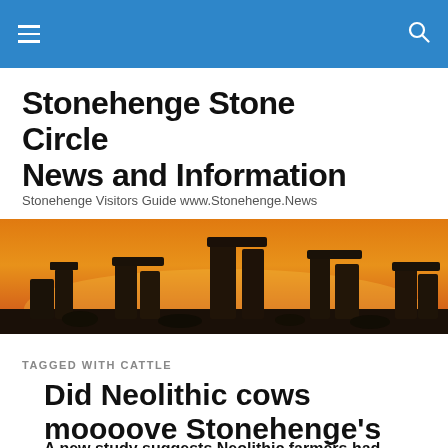Stonehenge Stone Circle News and Information
Stonehenge Visitors Guide www.Stonehenge.News
[Figure (photo): Panoramic photo of Stonehenge stone circle silhouetted against a dramatic orange and golden sunset sky]
TAGGED WITH CATTLE
Did Neolithic cows moooove Stonehenge's bluestones?
A new study suggests Neolithic farmers had mastered